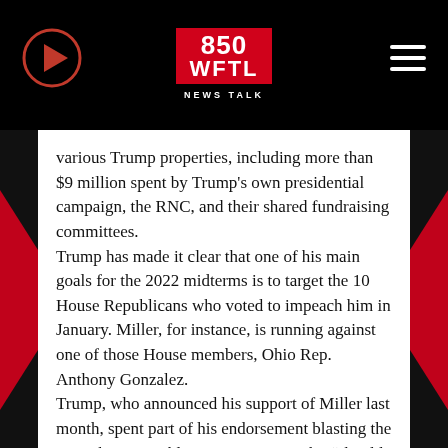[Figure (logo): 850 WFTL News Talk radio logo in red and white, centered in black header bar]
various Trump properties, including more than $9 million spent by Trump's own presidential campaign, the RNC, and their shared fundraising committees.
Trump has made it clear that one of his main goals for the 2022 midterms is to target the 10 House Republicans who voted to impeach him in January. Miller, for instance, is running against one of those House members, Ohio Rep. Anthony Gonzalez.
Trump, who announced his support of Miller last month, spent part of his endorsement blasting the incumbent Republican as someone who “should not be representing the people of the 16th District because he does not represent their interest or their heart.”